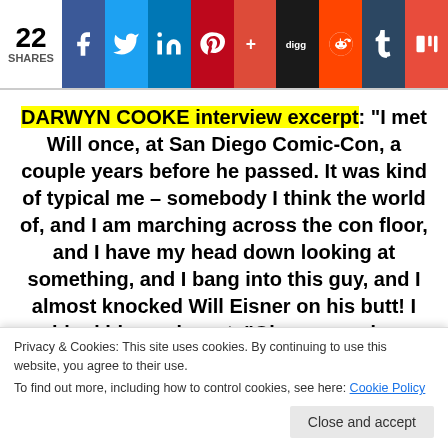22 SHARES | Social share bar with Facebook, Twitter, LinkedIn, Pinterest, Google+, Digg, Reddit, Tumblr, Mix
DARWYN COOKE interview excerpt: "I met Will once, at San Diego Comic-Con, a couple years before he passed. It was kind of typical me – somebody I think the world of, and I am marching across the con floor, and I have my head down looking at something, and I bang into this guy, and I almost knocked Will Eisner on his butt! I grabbed him and went, "Oh, my goodness, I'm sorry" I don't do the
Privacy & Cookies: This site uses cookies. By continuing to use this website, you agree to their use.
To find out more, including how to control cookies, see here: Cookie Policy
the time, and he said, "You work with those